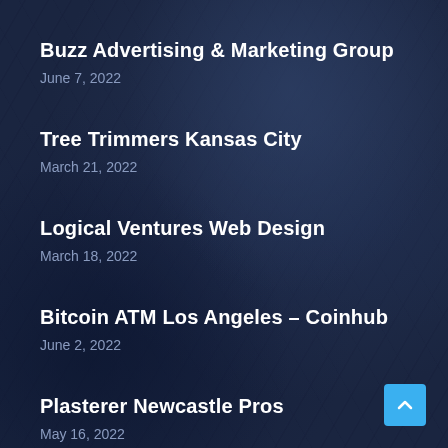Buzz Advertising & Marketing Group
June 7, 2022
Tree Trimmers Kansas City
March 21, 2022
Logical Ventures Web Design
March 18, 2022
Bitcoin ATM Los Angeles – Coinhub
June 2, 2022
Plasterer Newcastle Pros
May 16, 2022